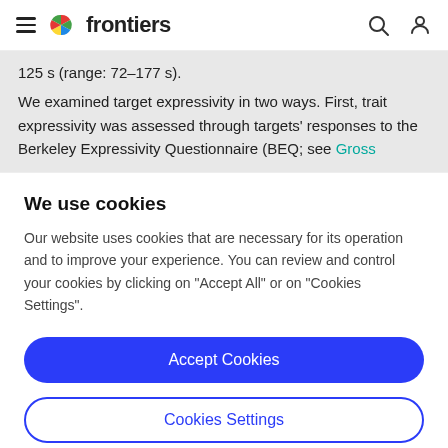frontiers
125 s (range: 72–177 s).
We examined target expressivity in two ways. First, trait expressivity was assessed through targets' responses to the Berkeley Expressivity Questionnaire (BEQ; see Gross
We use cookies
Our website uses cookies that are necessary for its operation and to improve your experience. You can review and control your cookies by clicking on "Accept All" or on "Cookies Settings".
Accept Cookies
Cookies Settings